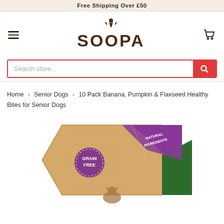Free Shipping Over £50
[Figure (logo): SOOPA dog treats brand logo in dark brown bold text with a small dog silhouette above]
[Figure (other): Search store input field with red border and red search button]
Home › Senior Dogs › 10 Pack Banana, Pumpkin & Flaxseed Healthy Bites for Senior Dogs
[Figure (photo): Product packaging for SOOPA 10 Pack Banana, Pumpkin & Flaxseed Healthy Bites for Senior Dogs — kraft paper hexagonal box with purple and green triangular accents, 'Grain Free' and 'Natural Ingredients' badges visible]